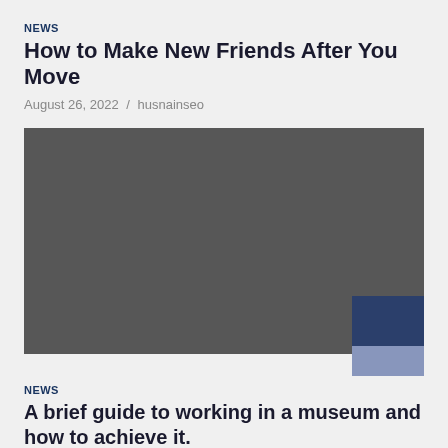NEWS
How to Make New Friends After You Move
August 26, 2022 / husnainseo
[Figure (photo): Large dark gray placeholder image with a dark navy and muted blue-purple rectangle overlay in the bottom-right corner.]
NEWS
A brief guide to working in a museum and how to achieve it.